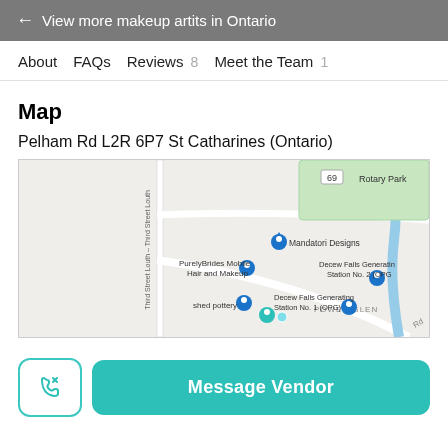← View more makeup artits in Ontario
About
FAQs
Reviews 8
Meet the Team 1
Map
Pelham Rd L2R 6P7 St Catharines (Ontario)
[Figure (map): Google map showing the area around Pelham Rd, St Catharines, Ontario, with pins for Mandatori Designs, PurelyBrides Mobile Hair and Makeup, shed pottery, Decew Falls Generating Station No. 1 (OPG), Decew Falls Generating Station No. 2 (OPG), and Rotary Park, with a label for POWER GLEN.]
Message Vendor